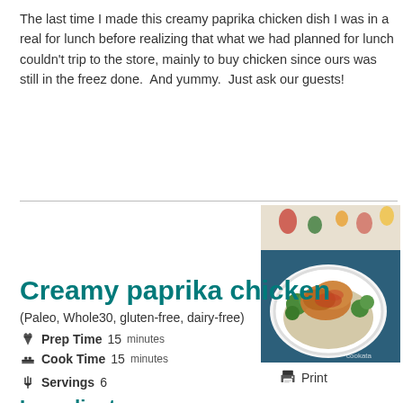The last time I made this creamy paprika chicken dish I was in a real for lunch before realizing that what we had planned for lunch couldn't trip to the store, mainly to buy chicken since ours was still in the freez done.  And yummy.  Just ask our guests!
[Figure (photo): Photo of creamy paprika chicken served on a plate with rice and broccoli, on a blue background with a decorative cloth]
Print
Creamy paprika chicken
(Paleo, Whole30, gluten-free, dairy-free)
Prep Time 15 minutes
Cook Time 15 minutes
Servings 6
Ingredients